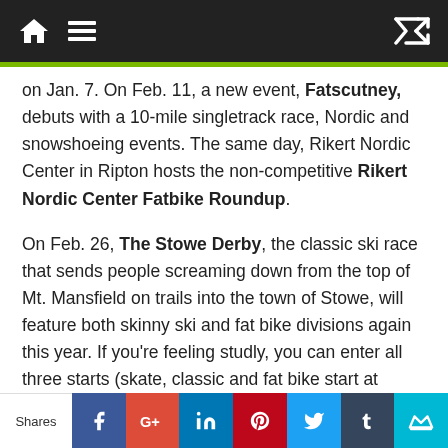Navigation bar with home and menu icons
on Jan. 7.  On Feb. 11, a new event, Fatscutney, debuts with a 10-mile singletrack race, Nordic and snowshoeing events. The same day, Rikert Nordic Center in Ripton hosts the non-competitive Rikert Nordic Center Fatbike Roundup.
On Feb. 26, The Stowe Derby, the classic ski race that sends people screaming down from the top of Mt. Mansfield on trails into the town of Stowe, will feature both skinny ski and fat bike divisions again this year.  If you’re feeling studly, you can enter all three starts (skate, classic and fat bike start at separate times) to compete for the Fat Meister prize.
Also on Feb. 26 is Fatstock.  Brought to you by the same folks who put on the Overland Grand Prix
Shares | Facebook | Google+ | LinkedIn | Pinterest | Twitter | Tumblr | Crown